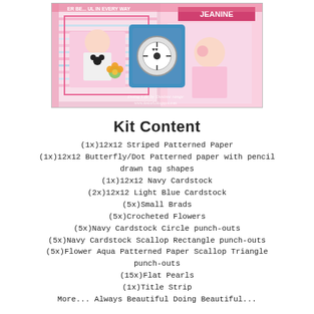[Figure (photo): Scrapbook layout photo showing two girls with pink themed decorative papers, Minnie Mouse shirt, striped and dotted patterns, with 'Doing Life by Desiree range www.desireS.blogspot.com' watermark]
Kit Content
(1x)12x12 Striped Patterned Paper
(1x)12x12 Butterfly/Dot Patterned paper with pencil drawn tag shapes
(1x)12x12 Navy Cardstock
(2x)12x12 Light Blue Cardstock
(5x)Small Brads
(5x)Crocheted Flowers
(5x)Navy Cardstock Circle punch-outs
(5x)Navy Cardstock Scallop Rectangle punch-outs
(5x)Flower Aqua Patterned Paper Scallop Triangle punch-outs
(15x)Flat Pearls
(1x)Title Strip
More... Always Beautiful Doing Beautiful...